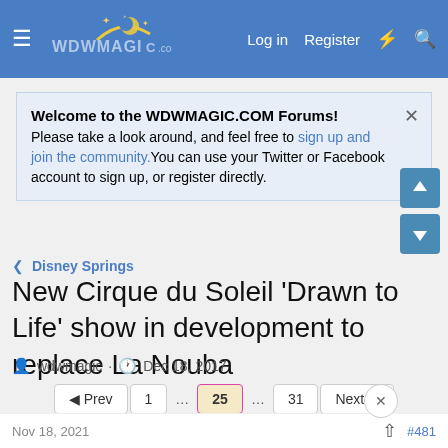WDWMAGIC.COM — Log in  Register
Welcome to the WDWMAGIC.COM Forums! Please take a look around, and feel free to sign up and join the community. You can use your Twitter or Facebook account to sign up, or register directly.
Disney Springs
New Cirque du Soleil 'Drawn to Life' show in development to replace La Nouba
wdwmagic · Dec 18, 2017
Prev  1  ...  25  ...  31  Next
castlecake2.0
Well-Known Member
Nov 18, 2021  #481